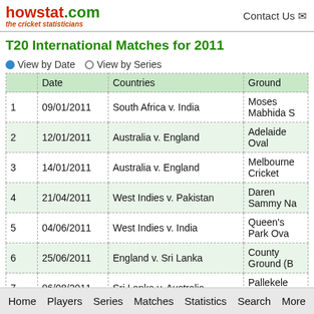howstat.com the cricket statisticians | Contact Us
T20 International Matches for 2011
View by Date  View by Series
|  | Date | Countries | Ground |
| --- | --- | --- | --- |
| 1 | 09/01/2011 | South Africa v. India | Moses Mabhida S... |
| 2 | 12/01/2011 | Australia v. England | Adelaide Oval |
| 3 | 14/01/2011 | Australia v. England | Melbourne Cricket... |
| 4 | 21/04/2011 | West Indies v. Pakistan | Daren Sammy Na... |
| 5 | 04/06/2011 | West Indies v. India | Queen's Park Ova... |
| 6 | 25/06/2011 | England v. Sri Lanka | County Ground (B... |
| 7 | 06/08/2011 | Sri Lanka v. Australia | Pallekele Internati... |
| 8 | 08/08/2011 | Sri Lanka v. Australia | Pallekele Internati... |
Home  Players  Series  Matches  Statistics  Search  More